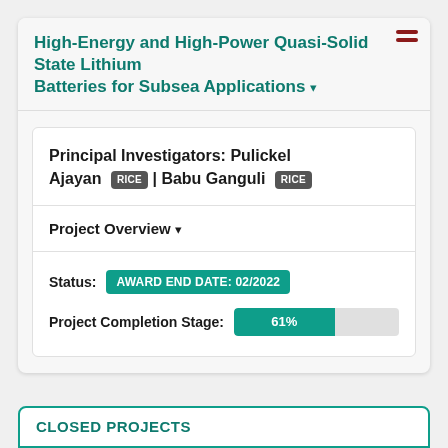High-Energy and High-Power Quasi-Solid State Lithium Batteries for Subsea Applications
Principal Investigators: Pulickel Ajayan RICE | Babu Ganguli RICE
Project Overview
Status: AWARD END DATE: 02/2022
Project Completion Stage: 61%
CLOSED PROJECTS